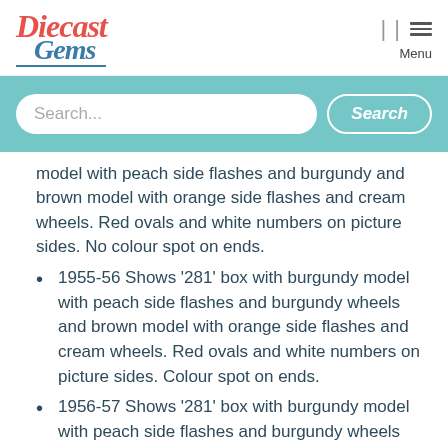Diecast Gems — logo and navigation header
[Figure (other): Search bar with teal background, text input and Search button]
model with peach side flashes and burgundy and brown model with orange side flashes and cream wheels. Red ovals and white numbers on picture sides. No colour spot on ends.
1955-56 Shows '281' box with burgundy model with peach side flashes and burgundy wheels and brown model with orange side flashes and cream wheels. Red ovals and white numbers on picture sides. Colour spot on ends.
1956-57 Shows '281' box with burgundy model with peach side flashes and burgundy wheels and brown model with oranges side flashes and green wheels. Red ovals and white numbers on picture